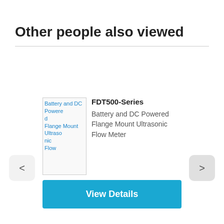Other people also viewed
[Figure (screenshot): Broken image placeholder for Battery and DC Powered Flange Mount Ultrasonic Flow Meter product thumbnail]
FDT500-Series
Battery and DC Powered Flange Mount Ultrasonic Flow Meter
View Details